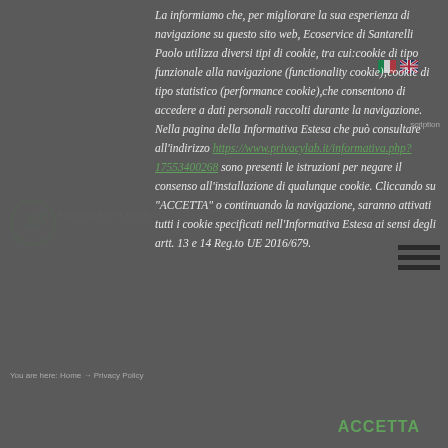La informiamo che, per migliorare la sua esperienza di navigazione su questo sito web, Ecoservice di Santarelli Paolo utilizza diversi tipi di cookie, tra cui:cookie di tipo funzionale alla navigazione (functionality cookie);cookie di tipo statistico (performance cookie),che consentono di accedere a dati personali raccolti durante la navigazione. Nella pagina della Informativa Estesa che può consultare all'indirizzo https://www.privacylab.it/informativa.php?17553400268 sono presenti le istruzioni per negare il consenso all'installazione di qualunque cookie. Cliccando su "ACCETTA" o continuando la navigazione, saranno attivati tutti i cookie specificati nell'Informativa Estesa ai sensi degli artt. 13 e 14 Reg.to UE 2016/679.
ACCETTA